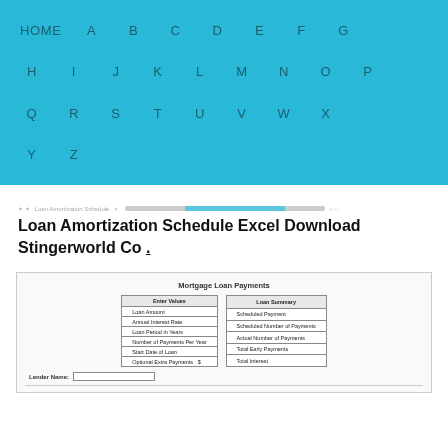HOME A B C D E F G H I J K L M N O P Q R S T U V W X Y Z
Loan Amortization Schedule Excel Download Stingerworld Co .
[Figure (screenshot): Screenshot of a Mortgage Loan Payments spreadsheet showing Enter Values table (Loan Amount, Annual Interest Rate, Loan Period in Years, Number of Payments Per Year, Start Date of Loan, Optional Extra Payments) and Loan Summary table (Scheduled Payment, Scheduled Number of Payments, Actual Number of Payments, Total Early Payments, Total Interest), with a Lender Name field below.]